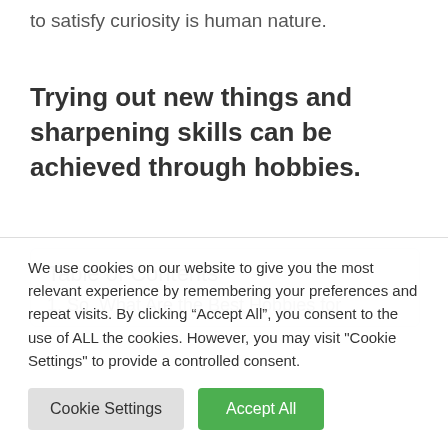to satisfy curiosity is human nature.
Trying out new things and sharpening skills can be achieved through hobbies.
| Table of Contents |
| --- |
| 1. So. What Are the Best Hobbies for |
We use cookies on our website to give you the most relevant experience by remembering your preferences and repeat visits. By clicking “Accept All”, you consent to the use of ALL the cookies. However, you may visit "Cookie Settings" to provide a controlled consent.